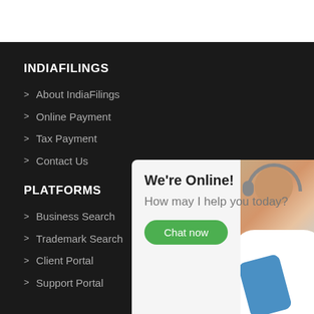INDIAFILINGS
About IndiaFilings
Online Payment
Tax Payment
Contact Us
PLATFORMS
Business Search
Trademark Search
Client Portal
Support Portal
[Figure (screenshot): Chat widget popup with a customer support agent photo, showing 'We're Online!' heading, 'How may I help you today?' message, and a green 'Chat now' button]